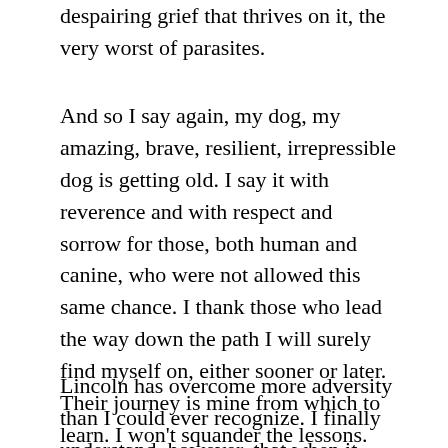despairing grief that thrives on it, the very worst of parasites.
And so I say again, my dog, my amazing, brave, resilient, irrepressible dog is getting old. I say it with reverence and with respect and sorrow for those, both human and canine, who were not allowed this same chance. I thank those who lead the way down the path I will surely find myself on, either sooner or later. Their journey is mine from which to learn. I won’t squander the lessons.
Lincoln has overcome more adversity than I could ever recognize. I finally understand, however, that when it comes to